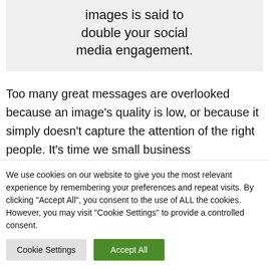images is said to double your social media engagement.
Too many great messages are overlooked because an image's quality is low, or because it simply doesn't capture the attention of the right people. It's time we small business
We use cookies on our website to give you the most relevant experience by remembering your preferences and repeat visits. By clicking "Accept All", you consent to the use of ALL the cookies. However, you may visit "Cookie Settings" to provide a controlled consent.